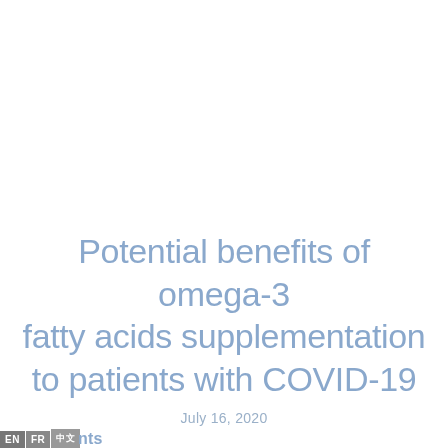Potential benefits of omega-3 fatty acids supplementation to patients with COVID-19
July 16, 2020
EN FR 中文 nts